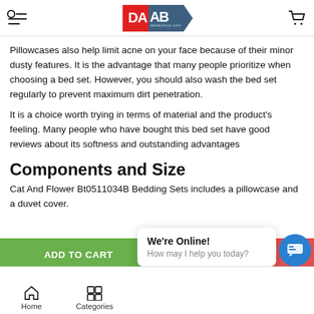DALAB dalabshop.com
Pillowcases also help limit acne on your face because of their minor dusty features. It is the advantage that many people prioritize when choosing a bed set. However, you should also wash the bed set regularly to prevent maximum dirt penetration.
It is a choice worth trying in terms of material and the product's feeling. Many people who have bought this bed set have good reviews about its softness and outstanding advantages
Components and Size
Cat And Flower Bt0511034B Bedding Sets includes a pillowcase and a duvet cover.